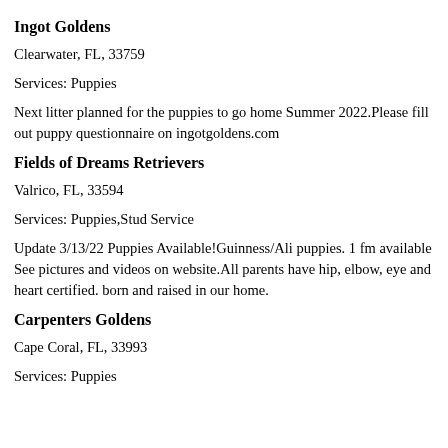Ingot Goldens
Clearwater, FL, 33759
Services: Puppies
Next litter planned for the puppies to go home Summer 2022.Please fill out puppy questionnaire on ingotgoldens.com
Fields of Dreams Retrievers
Valrico, FL, 33594
Services: Puppies,Stud Service
Update 3/13/22 Puppies Available!Guinness/Ali puppies. 1 fm available See pictures and videos on website.All parents have hip, elbow, eye and heart certified. born and raised in our home.
Carpenters Goldens
Cape Coral, FL, 33993
Services: Puppies